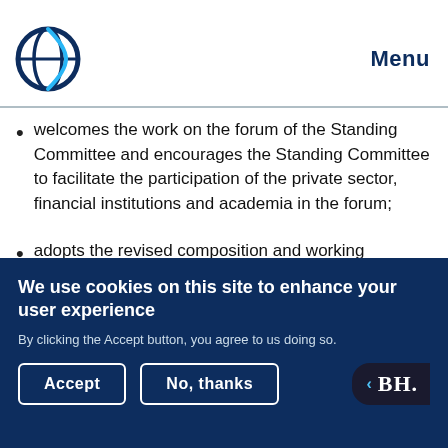Menu
welcomes the work on the forum of the Standing Committee and encourages the Standing Committee to facilitate the participation of the private sector, financial institutions and academia in the forum;
adopts the revised composition and working modalities of the Standing Committee;
We use cookies on this site to enhance your user experience
By clicking the Accept button, you agree to us doing so.